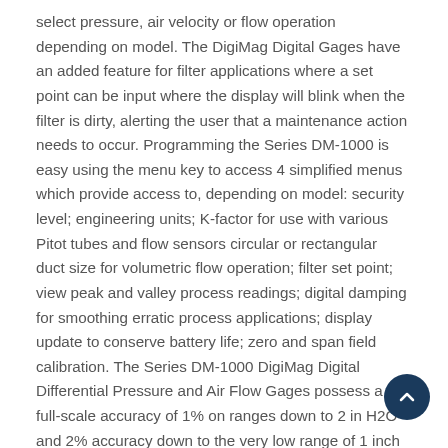select pressure, air velocity or flow operation depending on model. The DigiMag Digital Gages have an added feature for filter applications where a set point can be input where the display will blink when the filter is dirty, alerting the user that a maintenance action needs to occur. Programming the Series DM-1000 is easy using the menu key to access 4 simplified menus which provide access to, depending on model: security level; engineering units; K-factor for use with various Pitot tubes and flow sensors circular or rectangular duct size for volumetric flow operation; filter set point; view peak and valley process readings; digital damping for smoothing erratic process applications; display update to conserve battery life; zero and span field calibration. The Series DM-1000 DigiMag Digital Differential Pressure and Air Flow Gages possess a full-scale accuracy of 1% on ranges down to 2 in H2O and 2% accuracy down to the very low range of 1 inch to 0.25 in H2O. DigiMag Digital Differential Pressure Gages offer power versatility by working with 9-24 VDC line power or simply 9V battery power. If using line power and connecting the 9V battery, the battery will act as a
[Figure (other): Dark navy circular scroll-to-top button with upward chevron arrow, positioned bottom-right]